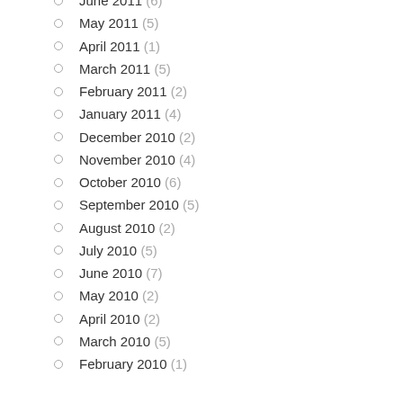June 2011 (6)
May 2011 (5)
April 2011 (1)
March 2011 (5)
February 2011 (2)
January 2011 (4)
December 2010 (2)
November 2010 (4)
October 2010 (6)
September 2010 (5)
August 2010 (2)
July 2010 (5)
June 2010 (7)
May 2010 (2)
April 2010 (2)
March 2010 (5)
February 2010 (1)